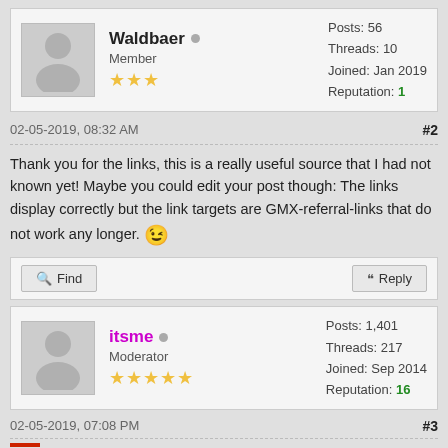Waldbaer | Member | Posts: 56 | Threads: 10 | Joined: Jan 2019 | Reputation: 1
02-05-2019, 08:32 AM  #2
Thank you for the links, this is a really useful source that I had not known yet! Maybe you could edit your post though: The links display correctly but the link targets are GMX-referral-links that do not work any longer. 😉
Find  Reply
itsme | Moderator | Posts: 1,401 | Threads: 217 | Joined: Sep 2014 | Reputation: 16
02-05-2019, 07:08 PM  #3